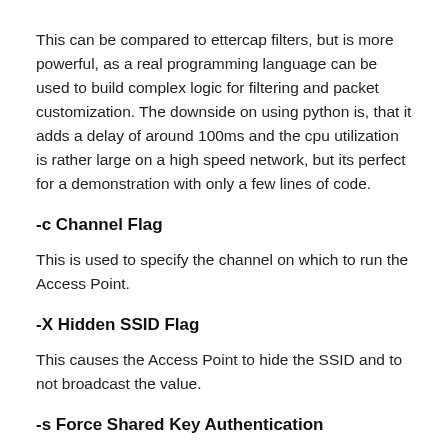This can be compared to ettercap filters, but is more powerful, as a real programming language can be used to build complex logic for filtering and packet customization. The downside on using python is, that it adds a delay of around 100ms and the cpu utilization is rather large on a high speed network, but its perfect for a demonstration with only a few lines of code.
-c Channel Flag
This is used to specify the channel on which to run the Access Point.
-X Hidden SSID Flag
This causes the Access Point to hide the SSID and to not broadcast the value.
-s Force Shared Key Authentication